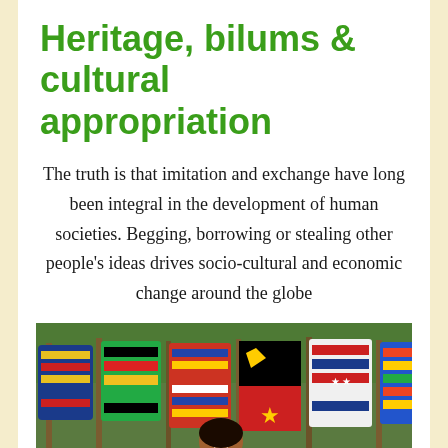Heritage, bilums & cultural appropriation
The truth is that imitation and exchange have long been integral in the development of human societies. Begging, borrowing or stealing other people's ideas drives socio-cultural and economic change around the globe
[Figure (photo): A woman smiling, surrounded by colorful bilum bags (traditional woven net bags) displayed on poles outdoors. The bags display bright colors and patterns including PNG flag motifs.]